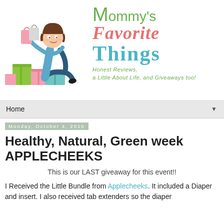[Figure (illustration): Blog header banner for 'Mommy's Favorite Things' showing a cartoon woman sitting on colorful gift boxes and shopping bags, with the blog title text including 'Mommy's', 'Favorite', 'Things' in green, coral/red, and teal colors, and tagline 'Honest Reviews, a Little About Life, and Giveaways too!']
Home ▼
Monday, October 4, 2010
Healthy, Natural, Green week APPLECHEEKS
This is our LAST giveaway for this event!!
I Received the Little Bundle from Applecheeks. It included a Diaper and insert. I also received tab extenders so the diaper